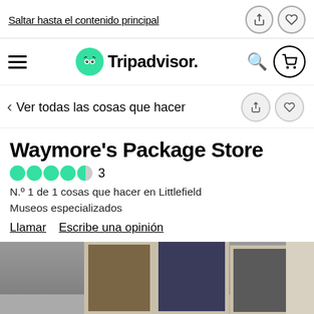Saltar hasta el contenido principal
[Figure (screenshot): Tripadvisor navigation bar with hamburger menu, owl logo, search and cart icons]
Ver todas las cosas que hacer
Waymore's Package Store
3
N.º 1 de 1 cosas que hacer en Littlefield
Museos especializados
Llamar   Escribe una opinión
[Figure (photo): Interior photo of Waymore's Package Store showing framed artwork/photos on a wall]